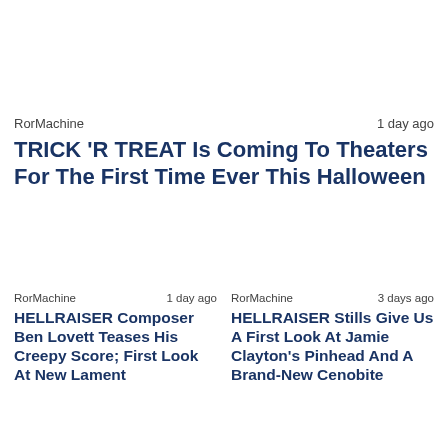RorMachine   1 day ago
TRICK 'R TREAT Is Coming To Theaters For The First Time Ever This Halloween
RorMachine   1 day ago
HELLRAISER Composer Ben Lovett Teases His Creepy Score; First Look At New Lament
RorMachine   3 days ago
HELLRAISER Stills Give Us A First Look At Jamie Clayton's Pinhead And A Brand-New Cenobite